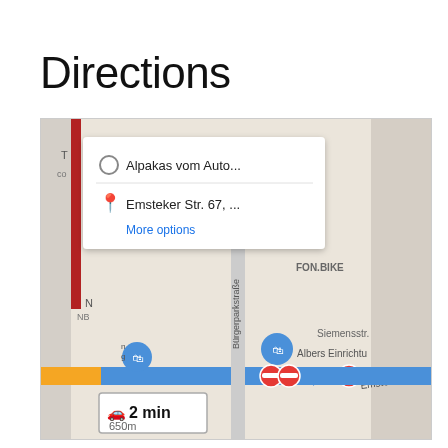Directions
[Figure (screenshot): Google Maps screenshot showing directions from Alpakas vom Auto... to Emsteker Str. 67,... with a route popup, map labels including Bürgerparkstraße, Siemensstr., Albers Einrichtu, FON.BIKE, blue route line with no-entry signs, and a 2 min / 650m duration box.]